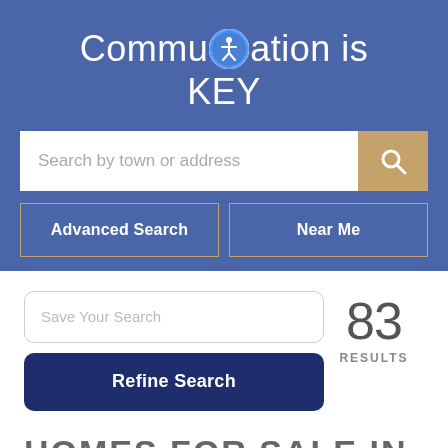Communication is KEY
[Figure (screenshot): Search bar with placeholder text 'Search by town or address' and a tan/gold search button with magnifying glass icon]
[Figure (screenshot): Two outline buttons: 'Advanced Search' and 'Near Me' on blue background]
[Figure (screenshot): Save Your Search input box with rounded corners]
[Figure (screenshot): Refine Search dark navy blue button]
83 RESULTS
HOMES FOR SALE IN